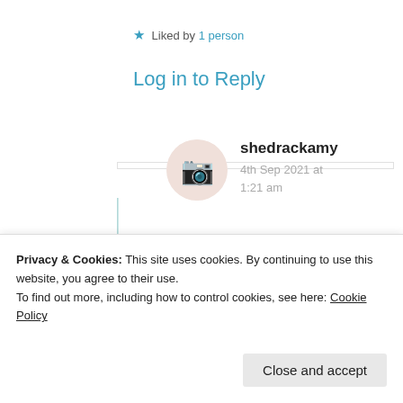★ Liked by 1 person
Log in to Reply
shedrackamy
4th Sep 2021 at 1:21 am
You're welcome 👍
Privacy & Cookies: This site uses cookies. By continuing to use this website, you agree to their use.
To find out more, including how to control cookies, see here: Cookie Policy
Close and accept